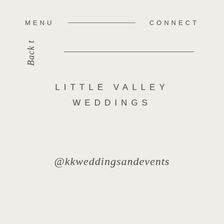MENU   CONNECT
Back t
LITTLE VALLEY WEDDINGS
@kkweddingsandevents